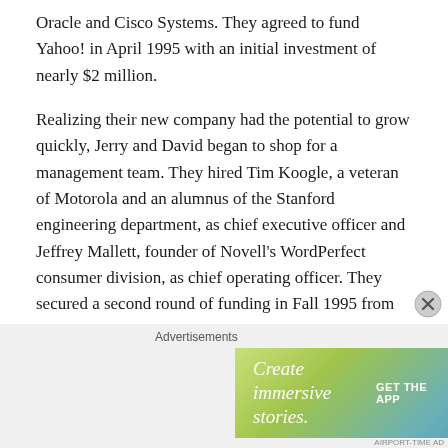Oracle and Cisco Systems. They agreed to fund Yahoo! in April 1995 with an initial investment of nearly $2 million.
Realizing their new company had the potential to grow quickly, Jerry and David began to shop for a management team. They hired Tim Koogle, a veteran of Motorola and an alumnus of the Stanford engineering department, as chief executive officer and Jeffrey Mallett, founder of Novell's WordPerfect consumer division, as chief operating officer. They secured a second round of funding in Fall 1995 from investors Reuters Ltd. and Softbank. Yahoo! launched a highly-successful IPO in April 1996 with a total of 49 employees.
Advertisements
[Figure (other): Advertisement banner: 'Create immersive stories.' with 'GET THE APP' call to action and WordPress logo on a green-to-blue gradient background.]